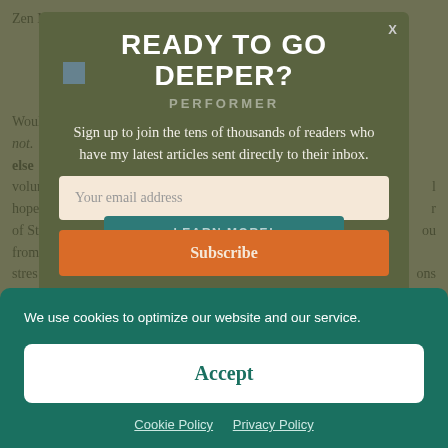Zen M...
Woul... not. ...else... volun... hope... of St... from... stres... behi... the
[Figure (screenshot): Popup modal overlay with dark olive background containing newsletter signup. Title: READY TO GO DEEPER? Subtitle: PERFORMER. Body text: Sign up to join the tens of thousands of readers who have my latest articles sent directly to their inbox. Email input field placeholder: Your email address. Subscribe button. Overlapping LEARN MORE! teal button. Close X button top right.]
We use cookies to optimize our website and our service.
Accept
Cookie Policy   Privacy Policy